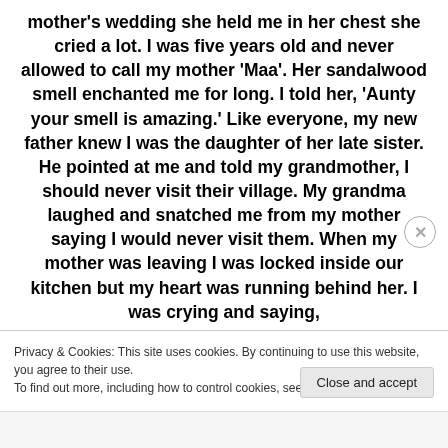mother's wedding she held me in her chest she cried a lot. I was five years old and never allowed to call my mother 'Maa'. Her sandalwood smell enchanted me for long. I told her, 'Aunty your smell is amazing.' Like everyone, my new father knew I was the daughter of her late sister. He pointed at me and told my grandmother, I should never visit their village. My grandma laughed and snatched me from my mother saying I would never visit them. When my mother was leaving I was locked inside our kitchen but my heart was running behind her. I was crying and saying,
Privacy & Cookies: This site uses cookies. By continuing to use this website, you agree to their use.
To find out more, including how to control cookies, see here: Cookie Policy